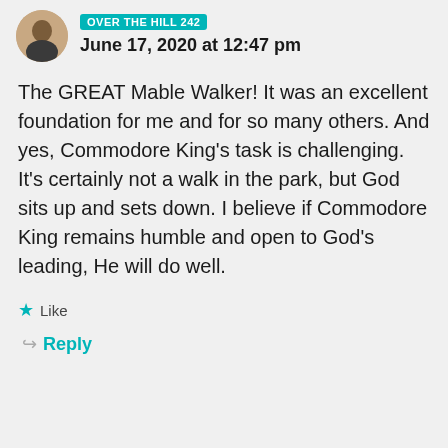[Figure (photo): Circular avatar photo of a person]
OVER THE HILL 242
June 17, 2020 at 12:47 pm
The GREAT Mable Walker! It was an excellent foundation for me and for so many others. And yes, Commodore King's task is challenging. It's certainly not a walk in the park, but God sits up and sets down. I believe if Commodore King remains humble and open to God's leading, He will do well.
Like
Reply